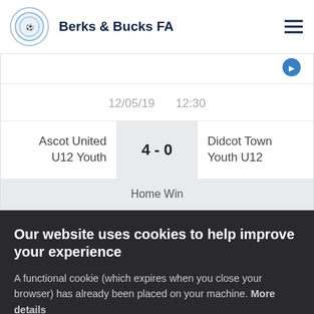Berks & Bucks FA
12/05/19   12:30
| Home Team | Score | Away Team |
| --- | --- | --- |
| Ascot United U12 Youth | 4 - 0 | Didcot Town Youth U12 |
Home Win
Our website uses cookies to help improve your experience
A functional cookie (which expires when you close your browser) has already been placed on your machine. More details
ACCEPT COOKIES